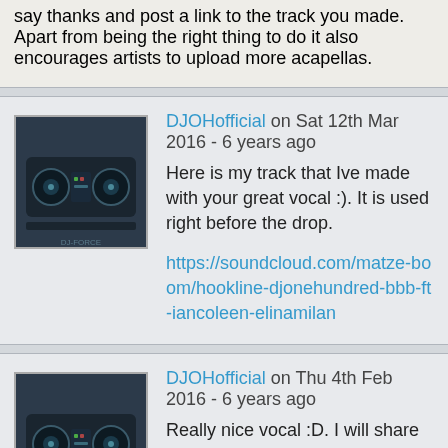say thanks and post a link to the track you made. Apart from being the right thing to do it also encourages artists to upload more acapellas.
DJOHofficial on Sat 12th Mar 2016 - 6 years ago
Here is my track that Ive made with your great vocal :). It is used right before the drop.
https://soundcloud.com/matze-boom/hookline-djonehundred-bbb-ft-iancoleen-elinamilan
DJOHofficial on Thu 4th Feb 2016 - 6 years ago
Really nice vocal :D. I will share my track soon!
ElementZero on Sat 12th Dec 2015 - 6 years ago
Thank you. Always great to have some of